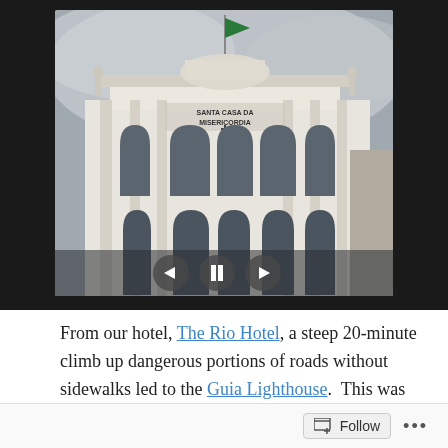[Figure (photo): A large neoclassical building labeled 'SANTA CASA DA MISERICORDIA' with a green flag on top, viewed from below at an angle. The photo is displayed inside a dark-bordered frame with navigation controls (left arrow, pause, right arrow) overlaid at the bottom center.]
From our hotel, The Rio Hotel, a steep 20-minute climb up dangerous portions of roads without sidewalks led to the Guia Lighthouse.  This was the first modern lighthouse on the Chinese coast and today it is used as the GPS location for